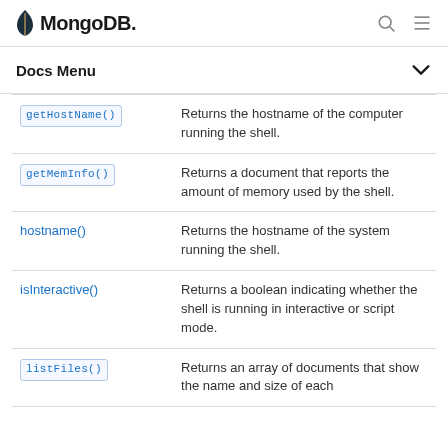MongoDB
Docs Menu
| Method | Description |
| --- | --- |
| getHostName() | Returns the hostname of the computer running the shell. |
| getMemInfo() | Returns a document that reports the amount of memory used by the shell. |
| hostname() | Returns the hostname of the system running the shell. |
| isInteractive() | Returns a boolean indicating whether the shell is running in interactive or script mode. |
| listFiles() | Returns an array of documents that show the name and size of each |